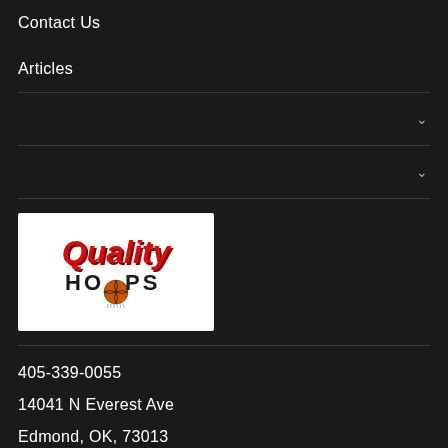Contact Us
Articles
[Figure (logo): Quality Hoops logo with red italic 'Quality' text and dark 'HOOPS' text with basketball graphic on white background]
405-339-0055
14041 N Everest Ave
Edmond, OK, 73013